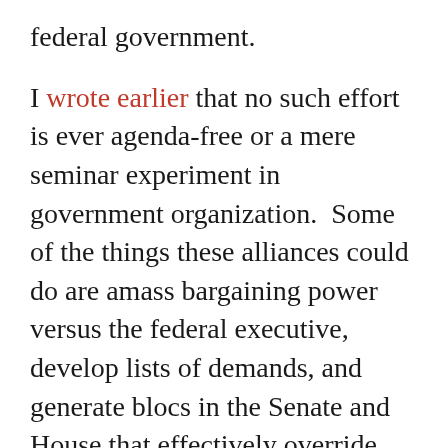federal government.
I wrote earlier that no such effort is ever agenda-free or a mere seminar experiment in government organization.  Some of the things these alliances could do are amass bargaining power versus the federal executive, develop lists of demands, and generate blocs in the Senate and House that effectively override the traditional lines at the national level of party and principle.
The representatives of the seven Northeastern states led by New York don't all vote the same way in Congress.  The same is true of the Pacific Coast states and the Midwestern states.  But if there is